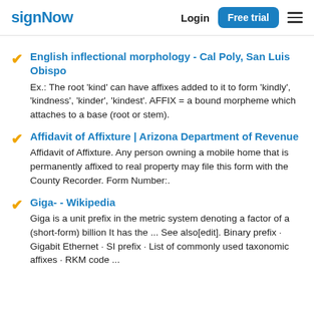signNow  Login  Free trial
English inflectional morphology - Cal Poly, San Luis Obispo
Ex.: The root 'kind' can have affixes added to it to form 'kindly', 'kindness', 'kinder', 'kindest'. AFFIX = a bound morpheme which attaches to a base (root or stem).
Affidavit of Affixture | Arizona Department of Revenue
Affidavit of Affixture. Any person owning a mobile home that is permanently affixed to real property may file this form with the County Recorder. Form Number:.
Giga- - Wikipedia
Giga is a unit prefix in the metric system denoting a factor of a (short-form) billion It has the ... See also[edit]. Binary prefix · Gigabit Ethernet · SI prefix · List of commonly used taxonomic affixes · RKM code ...